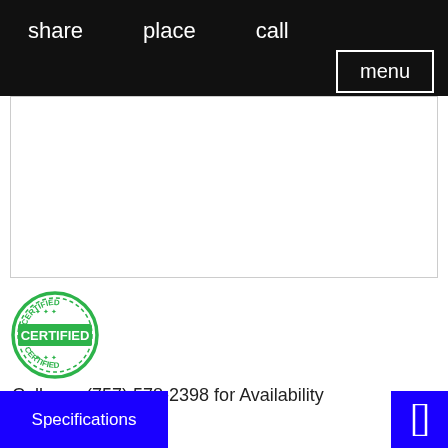share   place   call
menu
[Figure (other): Empty white content area with border]
[Figure (illustration): Green circular CERTIFIED stamp with text CERTIFIED repeated]
Call now (757) 578-2398 for Availability
Specifications
[Figure (other): Blue square button with white rectangle icon]